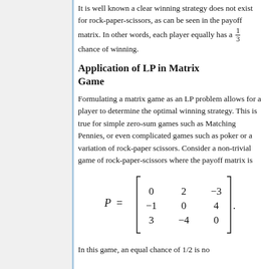It is well known a clear winning strategy does not exist for rock-paper-scissors, as can be seen in the payoff matrix. In other words, each player equally has a 1/3 chance of winning.
Application of LP in Matrix Game
Formulating a matrix game as an LP problem allows for a player to determine the optimal winning strategy. This is true for simple zero-sum games such as Matching Pennies, or even complicated games such as poker or a variation of rock-paper scissors. Consider a non-trivial game of rock-paper-scissors where the payoff matrix is
In this game, an equal chance of 1/2 is no...